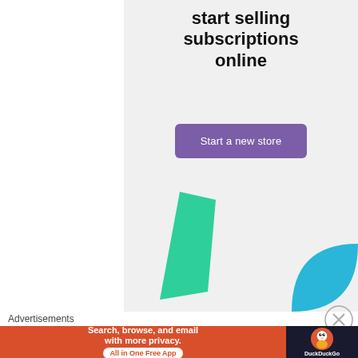start selling subscriptions online
[Figure (illustration): Purple 'Start a new store' CTA button with green triangular shape and blue quarter-circle decorative shapes on light gray background]
Advertisements
[Figure (screenshot): DuckDuckGo advertisement banner: 'Search, browse, and email with more privacy. All in One Free App' on orange background with DuckDuckGo logo on dark background]